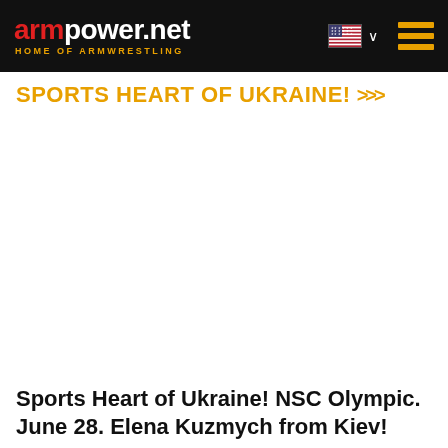armpower.net HOME OF ARMWRESTLING
SPORTS HEART OF UKRAINE! >>>
Sports Heart of Ukraine! NSC Olympic. June 28. Elena Kuzmych from Kiev!